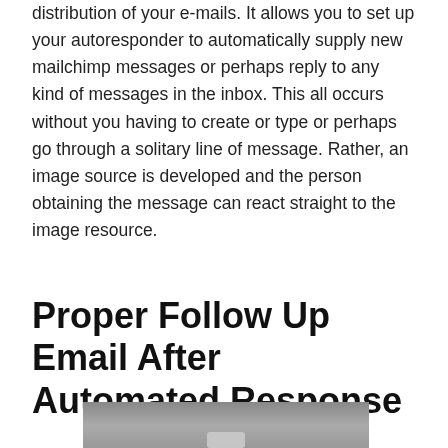distribution of your e-mails. It allows you to set up your autoresponder to automatically supply new mailchimp messages or perhaps reply to any kind of messages in the inbox. This all occurs without you having to create or type or perhaps go through a solitary line of message. Rather, an image source is developed and the person obtaining the message can react straight to the image resource.
Proper Follow Up Email After Automated Response
[Figure (photo): Partial view of a dark gray image, likely a video thumbnail with a play button visible at the bottom center.]